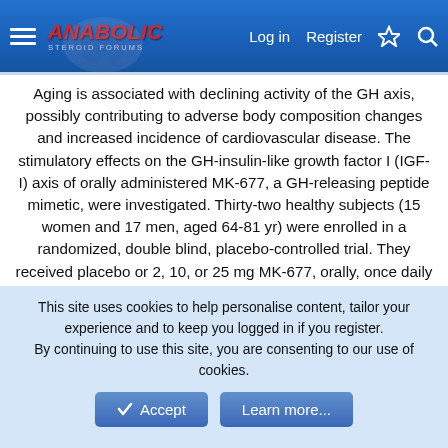Anabolic Steroid Forums — Log in | Register
Aging is associated with declining activity of the GH axis, possibly contributing to adverse body composition changes and increased incidence of cardiovascular disease. The stimulatory effects on the GH-insulin-like growth factor I (IGF-I) axis of orally administered MK-677, a GH-releasing peptide mimetic, were investigated. Thirty-two healthy subjects (15 women and 17 men, aged 64-81 yr) were enrolled in a randomized, double blind, placebo-controlled trial. They received placebo or 2, 10, or 25 mg MK-677, orally, once daily for 2 separate study periods of 14 and 28 days. At baseline and on day 14 of each study period, blood was collected every 20 min for 24 h to measure GH, PRL, and cortisol. Attributes of pulsatile GH release were assessed by 3 independent algorithms. MK-677
This site uses cookies to help personalise content, tailor your experience and to keep you logged in if you register.
By continuing to use this site, you are consenting to our use of cookies.